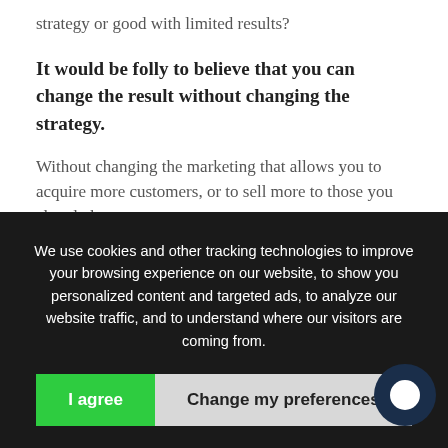strategy or good with limited results?
It would be folly to believe that you can change the result without changing the strategy.
Without changing the marketing that allows you to acquire more customers, or to sell more to those you already have.
We are talking about a series of concepts that you have to
We use cookies and other tracking technologies to improve your browsing experience on our website, to show you personalized content and targeted ads, to analyze our website traffic, and to understand where our visitors are coming from.